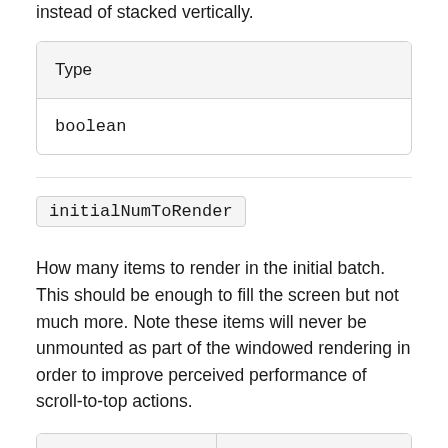instead of stacked vertically.
| Type |
| --- |
| boolean |
initialNumToRender
How many items to render in the initial batch. This should be enough to fill the screen but not much more. Note these items will never be unmounted as part of the windowed rendering in order to improve perceived performance of scroll-to-top actions.
| Type | Default |
| --- | --- |
|  |  |